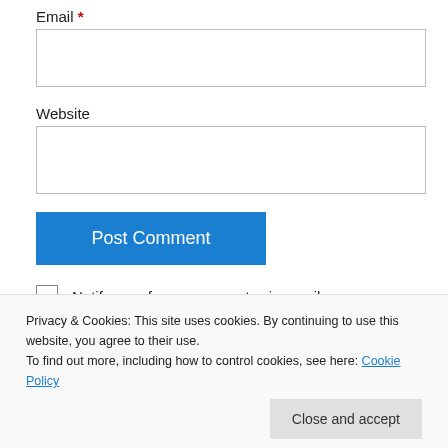Email *
Website
Post Comment
Notify me of new comments via email.
Notify me of new posts via email.
Privacy & Cookies: This site uses cookies. By continuing to use this website, you agree to their use. To find out more, including how to control cookies, see here: Cookie Policy
Close and accept
much Outreach (and Matt's job in particular)